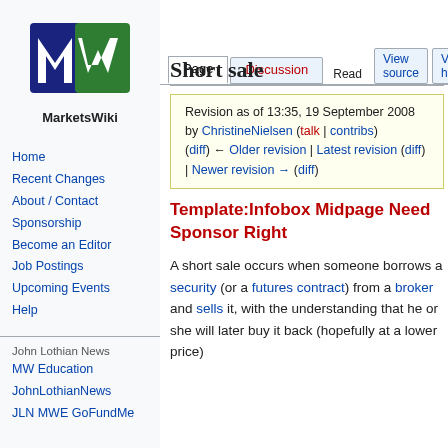Log in
[Figure (logo): MarketsWiki logo — stylized blue and green M/W letters with MarketsWiki text below]
Home
Recent Changes
About / Contact
Sponsorship
Become an Editor
Job Postings
Upcoming Events
Help
John Lothian News
MW Education
JohnLothianNews
JLN MWE GoFundMe
Short sale
Revision as of 13:35, 19 September 2008 by ChristineNielsen (talk | contribs)
(diff) ← Older revision | Latest revision (diff) | Newer revision → (diff)
Template:Infobox Midpage Need Sponsor Right
A short sale occurs when someone borrows a security (or a futures contract) from a broker and sells it, with the understanding that he or she will later buy it back (hopefully at a lower price)